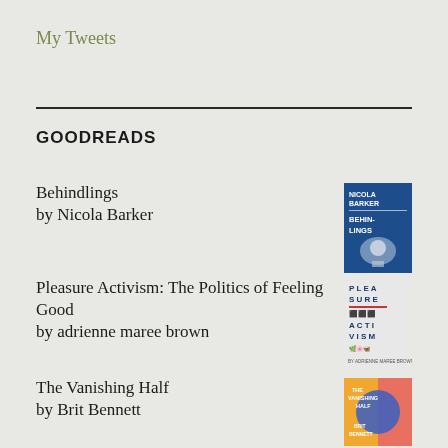My Tweets
GOODREADS
Behindlings by Nicola Barker
Pleasure Activism: The Politics of Feeling Good by adrienne maree brown
The Vanishing Half by Brit Bennett